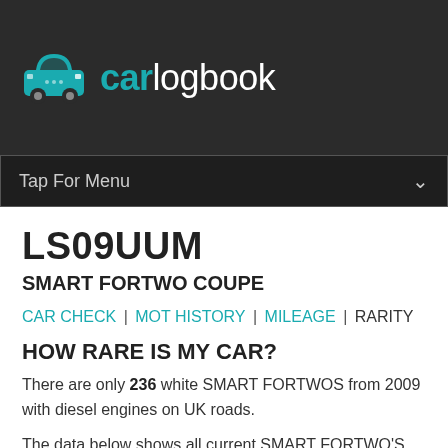[Figure (logo): Carlogbook logo with teal car icon and text 'carlogbook' in white/teal on dark background]
Tap For Menu
LS09UUM
SMART FORTWO COUPE
CAR CHECK | MOT HISTORY | MILEAGE | RARITY
HOW RARE IS MY CAR?
There are only 236 white SMART FORTWOS from 2009 with diesel engines on UK roads.
The data below shows all current SMART FORTWO'S with MOTs.
HOW MANY 2009 SMART FORTWOS ARE LEFT?